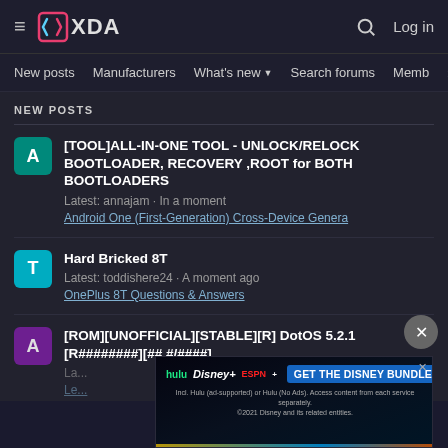XDA Developers — Log in
New posts · Manufacturers · What's new · Search forums · Members · >
NEW POSTS
[TOOL]ALL-IN-ONE TOOL - UNLOCK/RELOCK BOOTLOADER, RECOVERY ,ROOT for BOTH BOOTLOADERS
Latest: annajam · In a moment
Android One (First-Generation) Cross-Device Genera
Hard Bricked 8T
Latest: toddishere24 · A moment ago
OnePlus 8T Questions & Answers
[ROM][UNOFFICIAL][STABLE][R] DotOS 5.2.1 [R########][##.#/####]
Latest: ...
Le...
[Figure (screenshot): Disney Bundle advertisement banner showing Hulu, Disney+, and ESPN+ logos with 'GET THE DISNEY BUNDLE' CTA button]